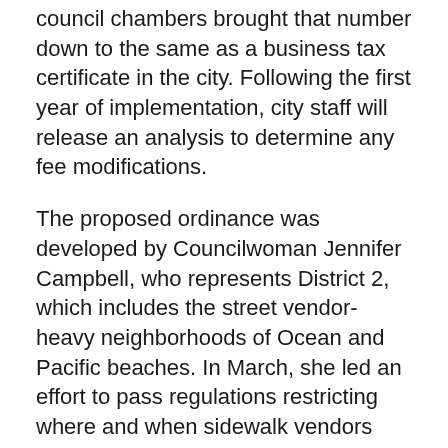council chambers brought that number down to the same as a business tax certificate in the city. Following the first year of implementation, city staff will release an analysis to determine any fee modifications.
The proposed ordinance was developed by Councilwoman Jennifer Campbell, who represents District 2, which includes the street vendor-heavy neighborhoods of Ocean and Pacific beaches. In March, she led an effort to pass regulations restricting where and when sidewalk vendors can operate in an attempt to comply with a state law. The proposal was approved 8-1.
“With this, we can balance the needs of vendors, residents and our public spaces,” Campbell said at the time.